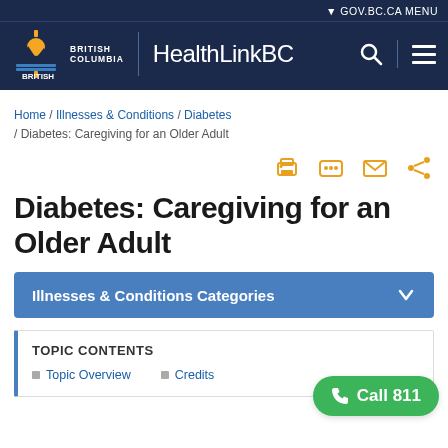GOV.BC.CA MENU | HealthLinkBC
Home / Illnesses & Conditions / Diabetes / Diabetes: Caregiving for an Older Adult
[Figure (infographic): Action icons: print, message, email, share]
Diabetes: Caregiving for an Older Adult
Illnesses & Conditions Categories
TOPIC CONTENTS
Topic Overview
Credits
Call 811